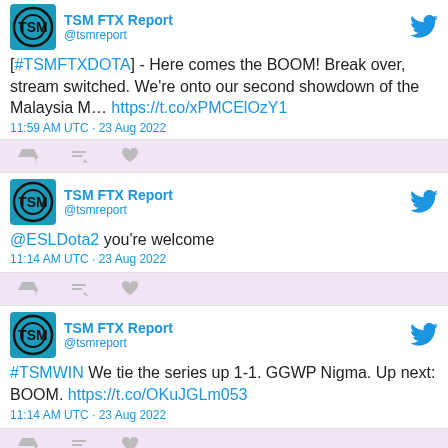[Figure (screenshot): TSM FTX Report tweet 1: @tsmreport - [#TSMFTXDOTA] - Here comes the BOOM! Break over, stream switched. We're onto our second showdown of the Malaysia M... https://t.co/xPMCElOzY1 - 11:59 AM UTC · 23 Aug 2022]
[Figure (screenshot): TSM FTX Report tweet 2: @tsmreport @ESLDota2 you're welcome - 11:14 AM UTC · 23 Aug 2022]
[Figure (screenshot): TSM FTX Report tweet 3: @tsmreport #TSMWIN We tie the series up 1-1. GGWP Nigma. Up next: BOOM. https://t.co/OKuJGLm053 - 11:14 AM UTC · 23 Aug 2022]